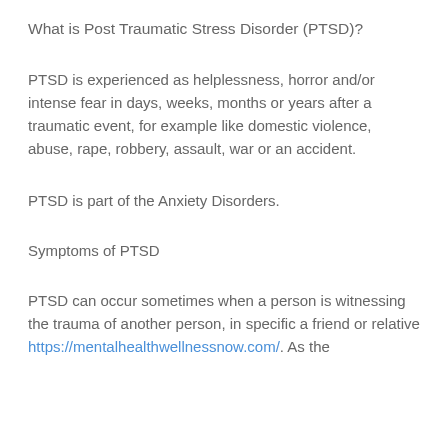What is Post Traumatic Stress Disorder (PTSD)?
PTSD is experienced as helplessness, horror and/or intense fear in days, weeks, months or years after a traumatic event, for example like domestic violence, abuse, rape, robbery, assault, war or an accident.
PTSD is part of the Anxiety Disorders.
Symptoms of PTSD
PTSD can occur sometimes when a person is witnessing the trauma of another person, in specific a friend or relative https://mentalhealthwellnessnow.com/. As the